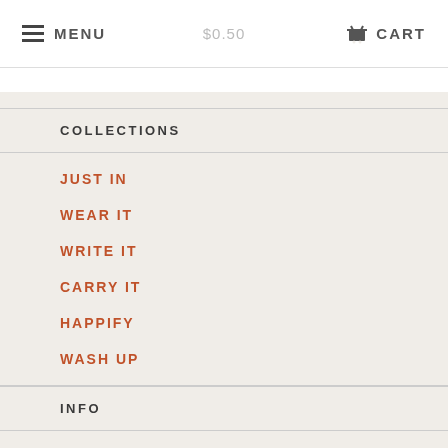MENU  $0.50  CART
COLLECTIONS
JUST IN
WEAR IT
WRITE IT
CARRY IT
HAPPIFY
WASH UP
INFO
HOME
ABOUT